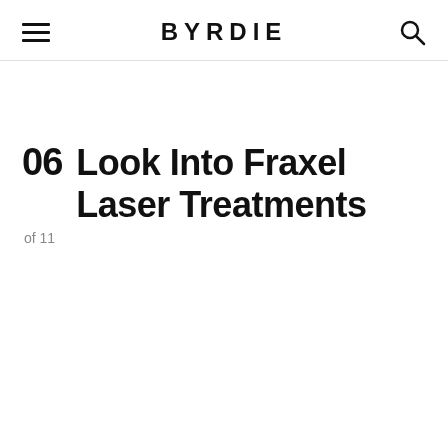BYRDIE
06 Look Into Fraxel Laser Treatments
of 11